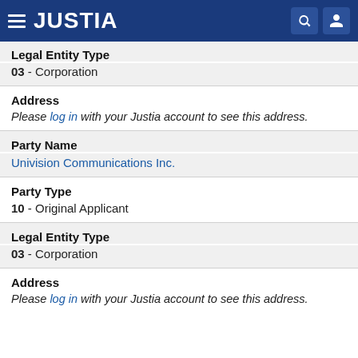JUSTIA
Legal Entity Type
03 - Corporation
Address
Please log in with your Justia account to see this address.
Party Name
Univision Communications Inc.
Party Type
10 - Original Applicant
Legal Entity Type
03 - Corporation
Address
Please log in with your Justia account to see this address.